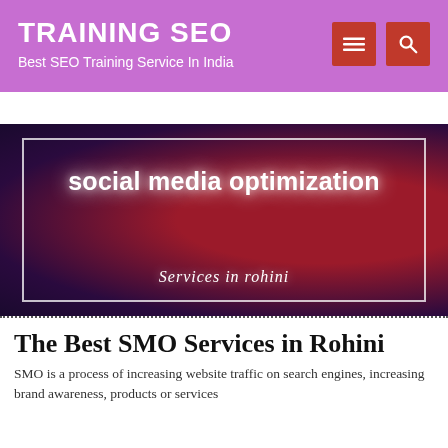TRAINING SEO
Best SEO Training Service In India
[Figure (illustration): Banner image with dark purple-red gradient background and white border, showing text 'social media optimization' in bold white letters and 'Services in rohini' in italic white script below]
The Best SMO Services in Rohini
SMO is a process of increasing website traffic on search engines, increasing brand awareness, products or services